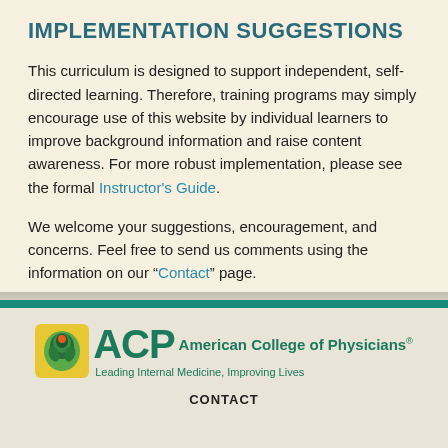IMPLEMENTATION SUGGESTIONS
This curriculum is designed to support independent, self-directed learning. Therefore, training programs may simply encourage use of this website by individual learners to improve background information and raise content awareness. For more robust implementation, please see the formal Instructor's Guide.
We welcome your suggestions, encouragement, and concerns. Feel free to send us comments using the information on our “Contact” page.
[Figure (logo): ACP American College of Physicians logo with green shield icon and tagline: Leading Internal Medicine, Improving Lives]
CONTACT